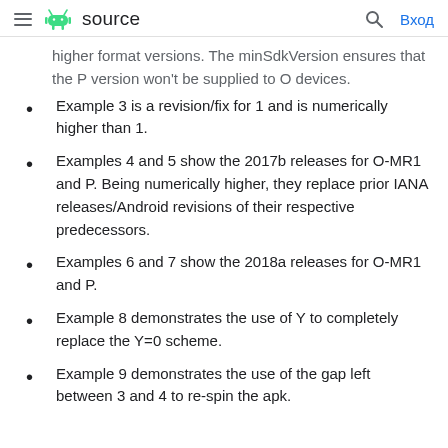source
higher format versions. The minSdkVersion ensures that the P version won't be supplied to O devices.
Example 3 is a revision/fix for 1 and is numerically higher than 1.
Examples 4 and 5 show the 2017b releases for O-MR1 and P. Being numerically higher, they replace prior IANA releases/Android revisions of their respective predecessors.
Examples 6 and 7 show the 2018a releases for O-MR1 and P.
Example 8 demonstrates the use of Y to completely replace the Y=0 scheme.
Example 9 demonstrates the use of the gap left between 3 and 4 to re-spin the apk.